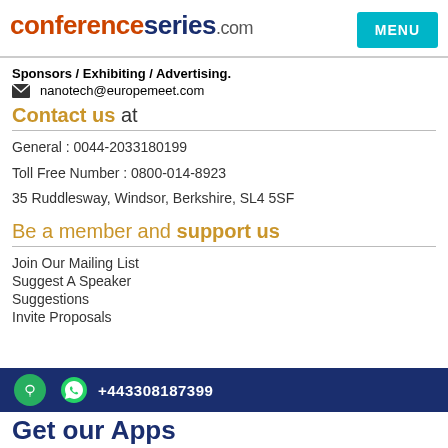conferenceseries.com
Sponsors / Exhibiting / Advertising.
✉ nanotech@europemeet.com
Contact us at
General : 0044-2033180199
Toll Free Number : 0800-014-8923
35 Ruddlesway, Windsor, Berkshire, SL4 5SF
Be a member and support us
Join Our Mailing List
Suggest A Speaker
Suggestions
Invite Proposals
+443308187399
Get our Apps